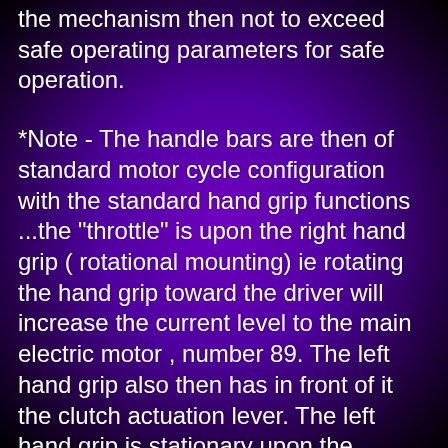the mechanism  then not to exceed safe operating parameters for safe operation.
*Note - The handle bars are then of standard motor cycle configuration with the standard hand grip functions ...the "throttle" is upon the right hand grip ( rotational mounting)  ie rotating the hand grip toward the driver will increase the current level to the main electric motor , number 89. The left hand grip also then has in front of it the clutch actuation lever. The left hand grip is stationary upon the handle bar and has in front of the clutch lever. the break lever in front of the right side hand grip is then also a dual break lever causing controlled break pressure to assist in balanced break pressure to prevent motorcycle control loss while